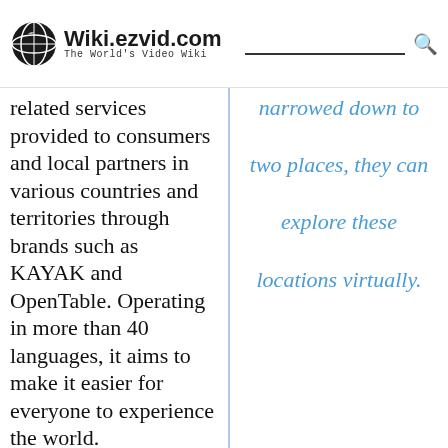Wiki.ezvid.com — The World's Video Wiki
related services provided to consumers and local partners in various countries and territories through brands such as KAYAK and OpenTable. Operating in more than 40 languages, it aims to make it easier for everyone to experience the world.
search has been narrowed down to two places, they can explore these locations virtually.
Among the company's brands is Agoda, a global online accommodation reservations provider based in the heart of Asia that has a network of over one million properties. It also owns and operates Priceline, which provides travelers smart and easy ways to save on hotel